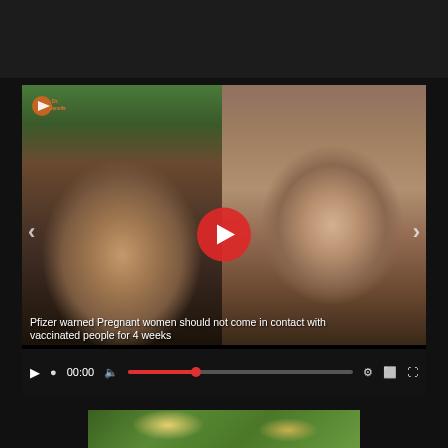[Figure (screenshot): Video player screenshot showing a split-screen video with two people. Left: older man with glasses in a plaid shirt sitting in an office with bookshelves. Right: middle-aged man in a dark suit with a tie in a room with a violin in the background. A red play button is overlaid in the center. Subtitle text reads: 'Pfizer warned Pregnant women should not come in contact with vaccinated people for 4 weeks'. Video controls bar at bottom shows 00:00 timestamp and playback controls.]
[Figure (photo): Partial thumbnail image at bottom showing trees with green foliage, likely a nature scene.]